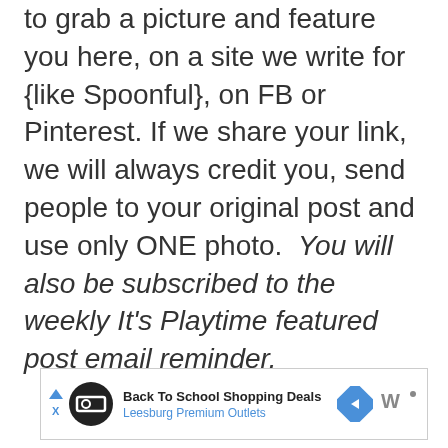to grab a picture and feature you here, on a site we write for {like Spoonful}, on FB or Pinterest. If we share your link, we will always credit you, send people to your original post and use only ONE photo. You will also be subscribed to the weekly It's Playtime featured post email reminder.
[Figure (other): Advertisement banner: Back To School Shopping Deals at Leesburg Premium Outlets, with circular black logo, blue diamond arrow icon, and Walmart brand mark]